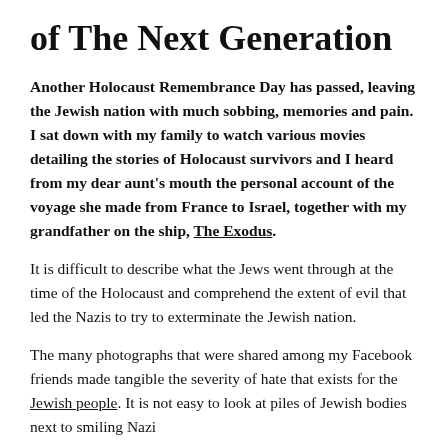of The Next Generation
Another Holocaust Remembrance Day has passed, leaving the Jewish nation with much sobbing, memories and pain. I sat down with my family to watch various movies detailing the stories of Holocaust survivors and I heard from my dear aunt's mouth the personal account of the voyage she made from France to Israel, together with my grandfather on the ship, The Exodus.
It is difficult to describe what the Jews went through at the time of the Holocaust and comprehend the extent of evil that led the Nazis to try to exterminate the Jewish nation.
The many photographs that were shared among my Facebook friends made tangible the severity of hate that exists for the Jewish people. It is not easy to look at piles of Jewish bodies next to smiling Nazi